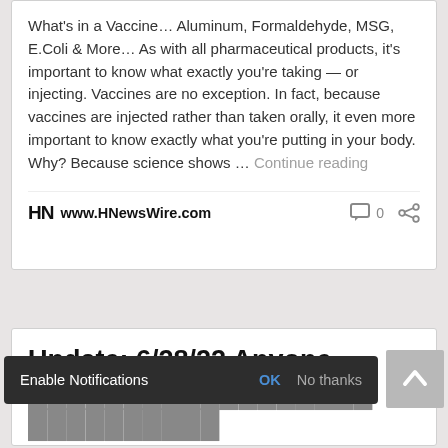What's in a Vaccine… Aluminum, Formaldehyde, MSG, E.Coli & More… As with all pharmaceutical products, it's important to know what exactly you're taking — or injecting. Vaccines are no exception. In fact, because vaccines are injected rather than taken orally, it even more important to know exactly what you're putting in your body. Why? Because science shows … Continue reading
HN www.HNewsWire.com  0
Update: 6/28/22 Anyone Pharmaceutical Companies Have a Moral Compass
Enable Notifications  OK  No thanks